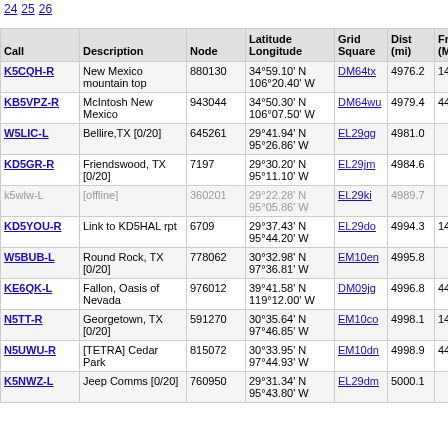24 25 26
| Call | Description | Node | Latitude Longitude | Grid Square | Dist (mi) | Freq (Mhz) |
| --- | --- | --- | --- | --- | --- | --- |
| K5CQH-R | New Mexico mountain top | 880130 | 34°59.10' N 106°20.40' W | DM64tx | 4976.2 | 146.72 |
| KB5VPZ-R | McIntosh New Mexico | 943044 | 34°50.30' N 106°07.50' W | DM64wu | 4979.4 | 447.27 |
| W5LIC-L | Bellire,TX [0/20] | 645261 | 29°41.94' N 95°26.86' W | EL29gg | 4981.0 |  |
| KD5GR-R | Friendswood, TX [0/20] | 7197 | 29°30.20' N 95°11.10' W | EL29jm | 4984.6 |  |
| k5wlw-L | [offline] | 360201 | 29°22.28' N 95°05.86' W | EL29ki | 4989.7 |  |
| KD5YOU-R | Link to KD5HAL rpt | 6709 | 29°37.43' N 95°44.20' W | EL29do | 4994.3 | 145.49 |
| W5BUB-L | Round Rock, TX [0/20] | 778062 | 30°32.98' N 97°36.81' W | EM10en | 4995.8 |  |
| KE6QK-L | Fallon, Oasis of Nevada | 976012 | 39°41.58' N 119°12.00' W | DM09jg | 4996.8 | 441.87 |
| N5TT-R | Georgetown, TX [0/20] | 591270 | 30°35.64' N 97°46.85' W | EM10co | 4998.1 | 146.64 |
| N5UWU-R | [TETRA] Cedar Park | 815072 | 30°33.95' N 97°44.93' W | EM10dn | 4998.9 | 441.80 |
| K5NWZ-L | Jeep Comms [0/20] | 760950 | 29°31.34' N 95°43.80' W | EL29dm | 5000.1 |  |